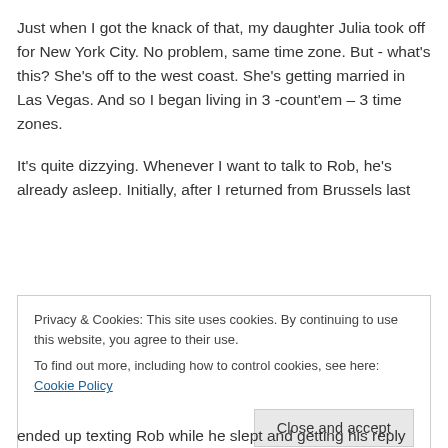Just when I got the knack of that, my daughter Julia took off for New York City. No problem, same time zone. But - what's this? She's off to the west coast. She's getting married in Las Vegas. And so I began living in 3 -count'em – 3 time zones.
It's quite dizzying. Whenever I want to talk to Rob, he's already asleep. Initially, after I returned from Brussels last
Privacy & Cookies: This site uses cookies. By continuing to use this website, you agree to their use.
To find out more, including how to control cookies, see here: Cookie Policy
Close and accept
ended up texting Rob while he slept and getting his reply